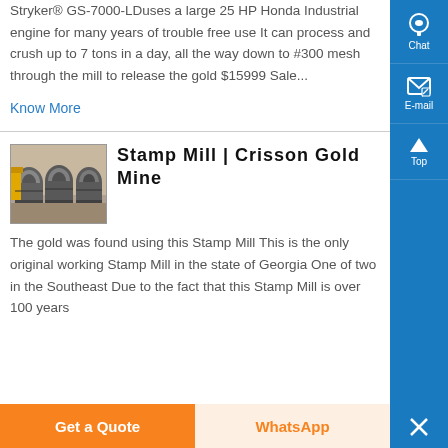Stryker® GS-7000-LDuses a large 25 HP Honda Industrial engine for many years of trouble free use It can process and crush up to 7 tons in a day, all the way down to #300 mesh through the mill to release the gold $15999 Sale...
Know More
Stamp Mill | Crisson Gold Mine
[Figure (photo): Photo of stamp mill machinery - large industrial grinding/crushing equipment in a workshop]
The gold was found using this Stamp Mill This is the only original working Stamp Mill in the state of Georgia One of two in the Southeast Due to the fact that this Stamp Mill is over 100 years